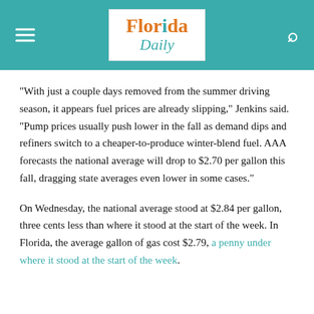Florida Daily
“With just a couple days removed from the summer driving season, it appears fuel prices are already slipping,” Jenkins said. “Pump prices usually push lower in the fall as demand dips and refiners switch to a cheaper-to-produce winter-blend fuel. AAA forecasts the national average will drop to $2.70 per gallon this fall, dragging state averages even lower in some cases.”
On Wednesday, the national average stood at $2.84 per gallon, three cents less than where it stood at the start of the week. In Florida, the average gallon of gas cost $2.79, a penny under where it stood at the start of the week.